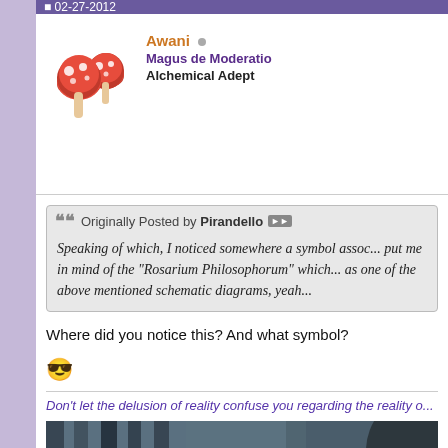02-27-2012
Awani
Magus de Moderatio
Alchemical Adept
Originally Posted by Pirandello
Speaking of which, I noticed somewhere a symbol assoc... put me in mind of the "Rosarium Philosophorum" which... as one of the above mentioned schematic diagrams, yeah...
Where did you notice this? And what symbol?
Don't let the delusion of reality confuse you regarding the reality o...
[Figure (photo): Photo of the Joker character (Heath Ledger) from The Dark Knight, shown behind prison bars in a dark, desaturated teal/grey color grading.]